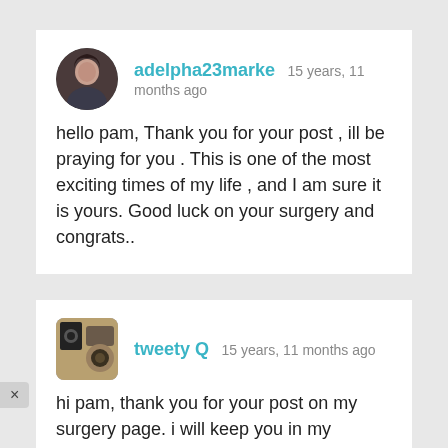adelpha23marke 15 years, 11 months ago
hello pam, Thank you for your post , ill be praying for you . This is one of the most exciting times of my life , and I am sure it is yours. Good luck on your surgery and congrats..
tweety Q 15 years, 11 months ago
hi pam, thank you for your post on my surgery page. i will keep you in my prayers and wish you well.... we will be on the journey together my surgery is the same